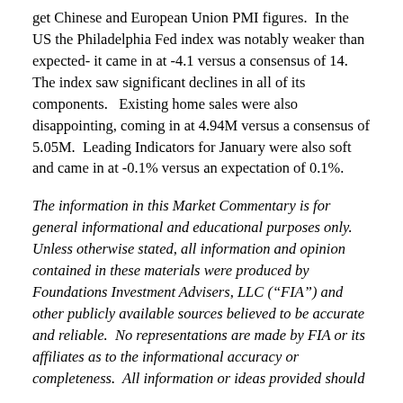get Chinese and European Union PMI figures.  In the US the Philadelphia Fed index was notably weaker than expected- it came in at -4.1 versus a consensus of 14.  The index saw significant declines in all of its components.   Existing home sales were also disappointing, coming in at 4.94M versus a consensus of 5.05M.  Leading Indicators for January were also soft and came in at -0.1% versus an expectation of 0.1%.
The information in this Market Commentary is for general informational and educational purposes only.  Unless otherwise stated, all information and opinion contained in these materials were produced by Foundations Investment Advisers, LLC (“FIA”) and other publicly available sources believed to be accurate and reliable.  No representations are made by FIA or its affiliates as to the informational accuracy or completeness.  All information or ideas provided should